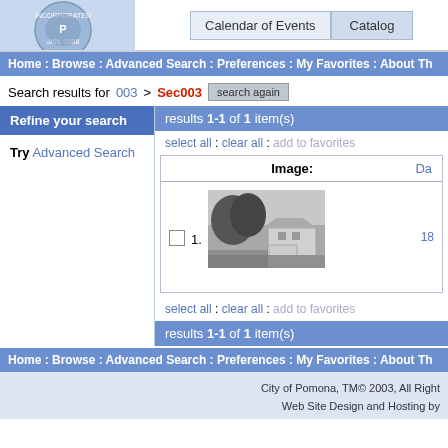Calendar of Events | Catalog | City of Pomona website header with logo
Home : Browse : Advanced Search : Preferences : My Favorites : About Th
Search results for 003 > Sec003 [search again button]
Refine your search
Try Advanced Search
results 1-1 of 1 item(s)
select all : clear all : add to favorites
[Figure (screenshot): Black and white photograph of a house with trees]
select all : clear all : add to favorites
results 1-1 of 1 item(s)
Home : Browse : Advanced Search : Preferences : My Favorites : About Th
City of Pomona, TM© 2003, All Right Web Site Design and Hosting by